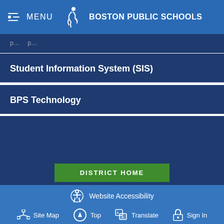MENU  BOSTON PUBLIC SCHOOLS
Student Information System (SIS)
BPS Technology
DISTRICT HOME
Website Accessibility  Site Map  Top  Translate  Sign In